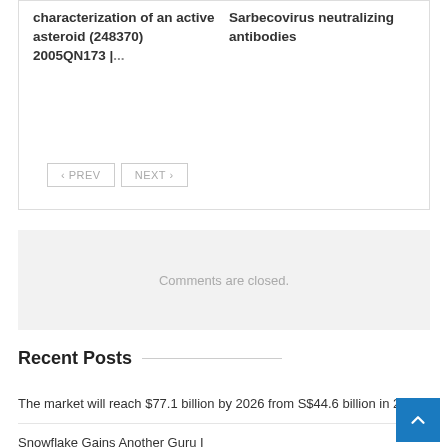characterization of an active asteroid (248370) 2005QN173 |...
Sarbecovirus neutralizing antibodies
‹ PREV   NEXT ›
Comments are closed.
Recent Posts
The market will reach $77.1 billion by 2026 from S$44.6 billion in 2022
Snowflake Gains Another Guru I
New research identifies distinct patterns of masturbation satisfaction in women and men
Omaha Mayor's Office to Hire Two New Economic Developers